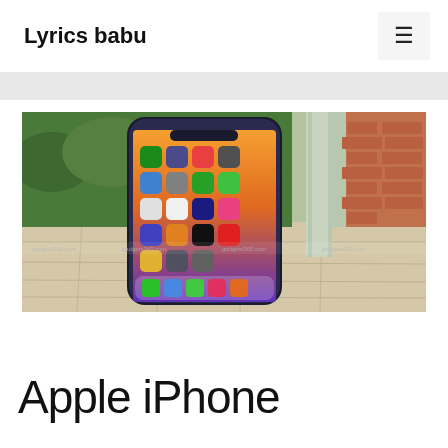Lyrics babu
[Figure (photo): Apple iPhone smartphone displayed upright on an outdoor patio surface, showing the iOS home screen with app icons, surrounded by greenery and brick wall in background.]
Apple iPhone